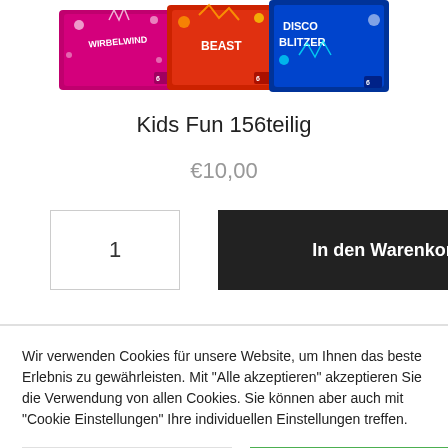[Figure (photo): Product image showing colorful fireworks/sparkler packages including Wirbelwind and Disco Blitzer brands]
Kids Fun 156teilig
€10,00
1
In den Warenkorb
Wir verwenden Cookies für unsere Website, um Ihnen das beste Erlebnis zu gewährleisten. Mit "Alle akzeptieren" akzeptieren Sie die Verwendung von allen Cookies. Sie können aber auch mit "Cookie Einstellungen" Ihre individuellen Einstellungen treffen.
Cookie Einstellungen
Alle akzeptieren